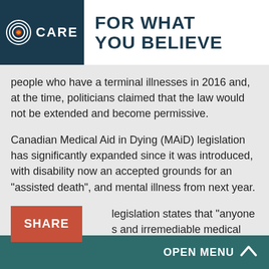CARE — FOR WHAT YOU BELIEVE
people who have a terminal illnesses in 2016 and, at the time, politicians claimed that the law would not be extended and become permissive.
Canadian Medical Aid in Dying (MAiD) legislation has significantly expanded since it was introduced, with disability now an accepted grounds for an "assisted death", and mental illness from next year.
legislation states that "anyone s and irremediable medical
OPEN MENU